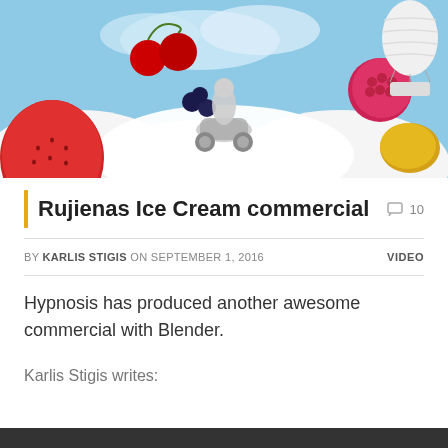[Figure (photo): Fantasy ice cream commercial image: a woman riding a motorcycle surrounded by giant fruits (strawberries, cherries, raspberries, blueberries, lemon), white cream clouds, and a hot air balloon, against a blue sky background.]
Rujienas Ice Cream commercial
10 comments
BY KARLIS STIGIS ON SEPTEMBER 1, 2016   VIDEO
Hypnosis has produced another awesome commercial with Blender.
Karlis Stigis writes: